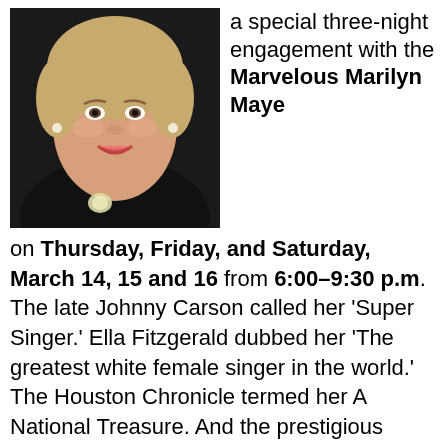[Figure (photo): Headshot photo of a smiling woman with blonde hair, wearing a black outfit with a brooch, against a dark background.]
a special three-night engagement with the Marvelous Marilyn Maye on Thursday, Friday, and Saturday, March 14, 15 and 16 from 6:00–9:30 p.m. The late Johnny Carson called her 'Super Singer.' Ella Fitzgerald dubbed her 'The greatest white female singer in the world.' The Houston Chronicle termed her A National Treasure. And the prestigious Smithsonian Institution chose her recording of Too Late Now (from her RCA Lamp Is Low album) for inclusion in its Best Performers of the Best Compositions of the 20th Century permanent